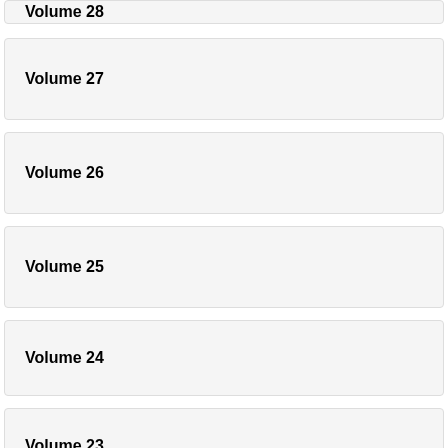Volume 28
Volume 27
Volume 26
Volume 25
Volume 24
Volume 23
Volume 22